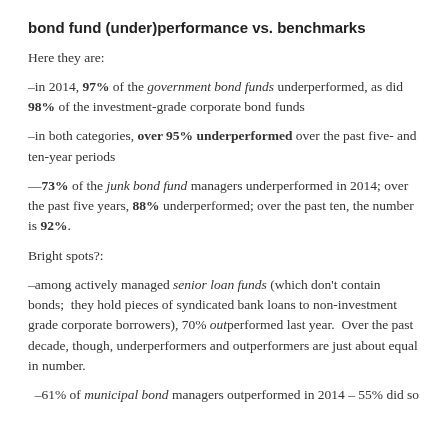bond fund (under)performance vs. benchmarks
Here they are:
–in 2014, 97% of the government bond funds underperformed, as did 98% of the investment-grade corporate bond funds
–in both categories, over 95% underperformed over the past five- and ten-year periods
—73% of the junk bond fund managers underperformed in 2014; over the past five years, 88% underperformed; over the past ten, the number is 92%.
Bright spots?:
–among actively managed senior loan funds (which don't contain bonds;  they hold pieces of syndicated bank loans to non-investment grade corporate borrowers), 70% outperformed last year.  Over the past decade, though, underperformers and outperformers are just about equal in number.
–61% of municipal bond managers outperformed in 2014 – 55% did so